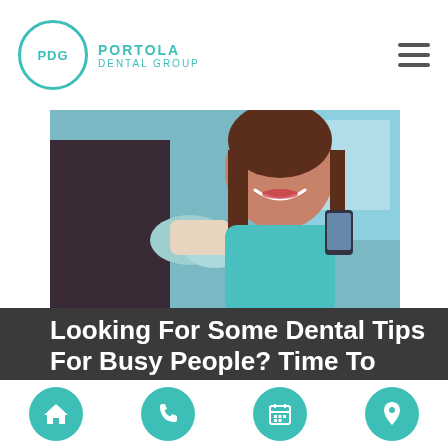PORTOLA DENTAL GROUP
[Figure (photo): Woman smiling in dental chair wearing teal bib, dental professional in gloves holding dental model beside her]
Looking For Some Dental Tips For Busy People? Time To Commit
Deciding to use dental tips for busy people because you are super busy is a great idea! It really is essential that you take proper